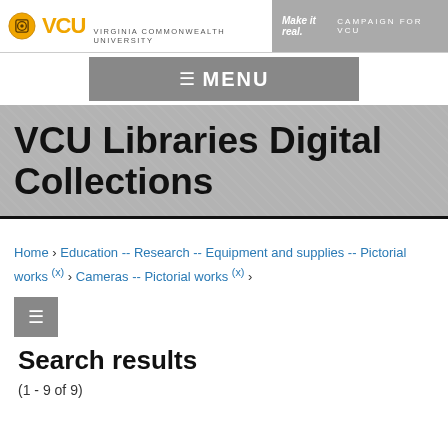VCU VIRGINIA COMMONWEALTH UNIVERSITY | Make it real. CAMPAIGN FOR VCU
≡ MENU
VCU Libraries Digital Collections
Home › Education -- Research -- Equipment and supplies -- Pictorial works (x) › Cameras -- Pictorial works (x) ›
Search results
(1 - 9 of 9)